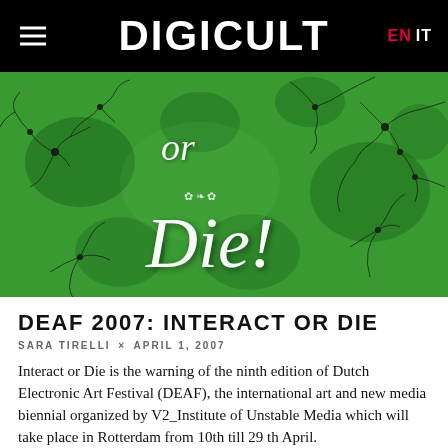DIGICULT
[Figure (illustration): Green textured background with black vein-like organic patterns and white cursive script text reading 'or Die!' with decorative flourishes]
DEAF 2007: INTERACT OR DIE
SARA TIRELLI × APRIL 1, 2007
Interact or Die is the warning of the ninth edition of Dutch Electronic Art Festival (DEAF), the international art and new media biennial organized by V2_Institute of Unstable Media which will take place in Rotterdam from 10th till 29 th April.